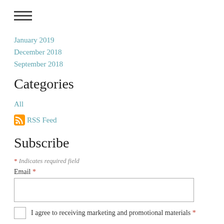[Figure (other): Hamburger menu icon (three horizontal lines)]
January 2019
December 2018
September 2018
Categories
All
RSS Feed
Subscribe
* Indicates required field
Email *
I agree to receiving marketing and promotional materials *
Subscribe to Newsletter